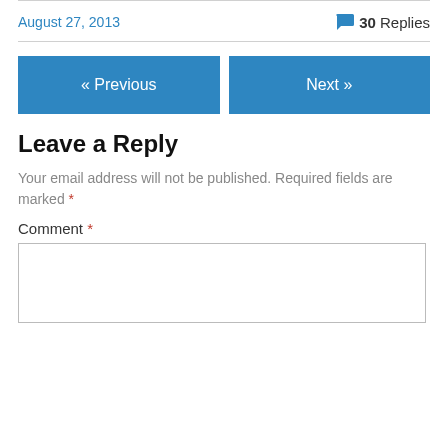August 27, 2013
30 Replies
« Previous
Next »
Leave a Reply
Your email address will not be published. Required fields are marked *
Comment *